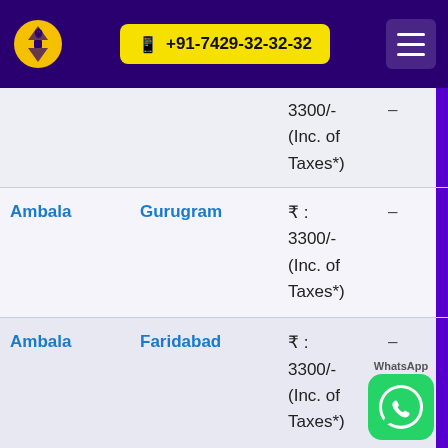+91-7429-32-32-32
| From | To | Price |  |
| --- | --- | --- | --- |
|  |  | ₹ : 3300/- (Inc. of Taxes*) | – |
| Ambala | Gurugram | ₹ : 3300/- (Inc. of Taxes*) | – |
| Ambala | Faridabad | ₹ : 3300/- (Inc. of Taxes*) | – |
| Ambala | New Delhi Railway Station | ₹ : 3300/- (Inc. of | – |